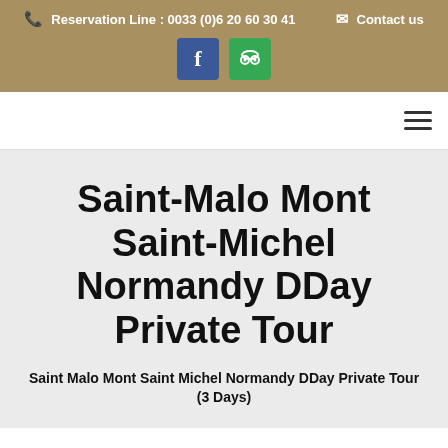Reservation Line : 0033 (0)6 20 60 30 41   Contact us
Saint-Malo Mont Saint-Michel Normandy DDay Private Tour
Saint Malo Mont Saint Michel Normandy DDay Private Tour (3 Days)
Day 1